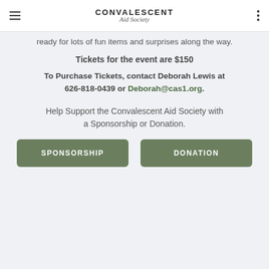CONVALESCENT Aid Society
ready for lots of fun items and surprises along the way.
Tickets for the event are $150
To Purchase Tickets, contact Deborah Lewis at 626-818-0439 or Deborah@cas1.org.
Help Support the Convalescent Aid Society with a Sponsorship or Donation.
SPONSORSHIP
DONATION